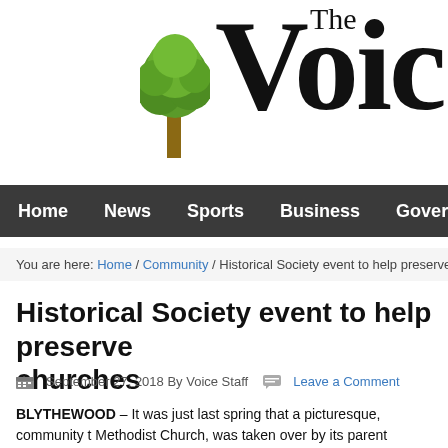[Figure (logo): The Voice newspaper logo with a green tree illustration and large serif text reading 'The Voice']
Home   News   Sports   Business   Government
You are here: Home / Community / Historical Society event to help preserve...
Historical Society event to help preserve churches
September 27, 2018 By Voice Staff   Leave a Comment
BLYTHEWOOD – It was just last spring that a picturesque, community t... Methodist Church, was taken over by its parent organization, the United... some who attend the equally picturesque and historic Mt. Zion Church in... fate is sealed as well.